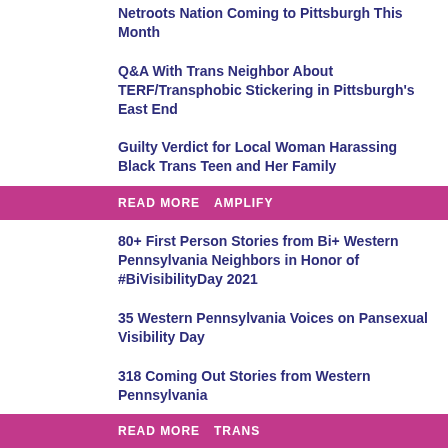Netroots Nation Coming to Pittsburgh This Month
Q&A With Trans Neighbor About TERF/Transphobic Stickering in Pittsburgh's East End
Guilty Verdict for Local Woman Harassing Black Trans Teen and Her Family
READ MORE   AMPLIFY
80+ First Person Stories from Bi+ Western Pennsylvania Neighbors in Honor of #BiVisibilityDay 2021
35 Western Pennsylvania Voices on Pansexual Visibility Day
318 Coming Out Stories from Western Pennsylvania
READ MORE   TRANS